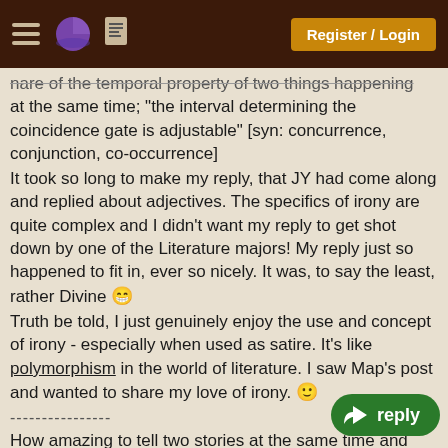Register / Login
nare of the temporal property of two things happening at the same time; "the interval determining the coincidence gate is adjustable" [syn: concurrence, conjunction, co-occurrence]
It took so long to make my reply, that JY had come along and replied about adjectives. The specifics of irony are quite complex and I didn't want my reply to get shot down by one of the Literature majors! My reply just so happened to fit in, ever so nicely. It was, to say the least, rather Divine 😁
Truth be told, I just genuinely enjoy the use and concept of irony - especially when used as satire. It's like polymorphism in the world of literature. I saw Map's post and wanted to share my love of irony. 🙂
----------------
How amazing to tell two stories at the same time and score on both!! Jonathan Swift wrote Gulliver's Travels as a moral satire against the man's vices... Royalty and it was also enjoyed as a children's story along with Robinson Crusoe, another book about